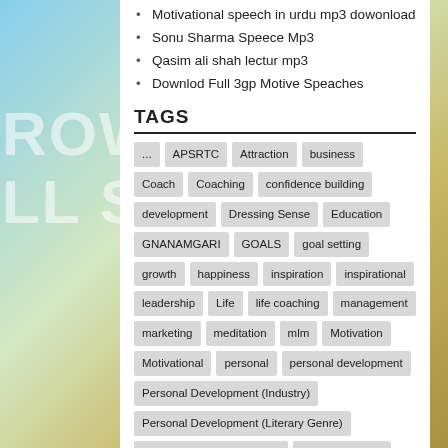Motivational speech in urdu mp3 dowonload
Sonu Sharma Speece Mp3
Qasim ali shah lectur mp3
Downlod Full 3gp Motive Speaches
TAGS
... APSRTC Attraction business Coach Coaching confidence building development Dressing Sense Education GNANAMGARI GOALS goal setting growth happiness inspiration inspirational leadership Life life coaching management marketing meditation mlm Motivation Motivational personal personal development Personal Development (Industry) Personal Development (Literary Genre) personal development plan personal growth personality personality development